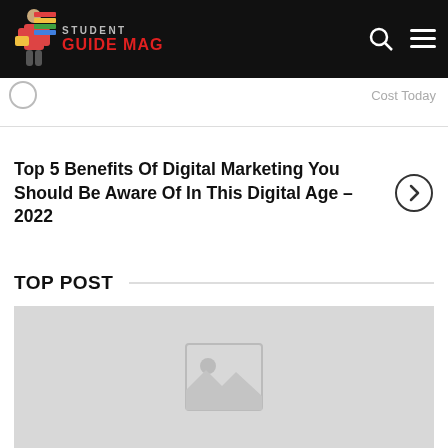STUDENT GUIDE MAG
Cost Today
Top 5 Benefits Of Digital Marketing You Should Be Aware Of In This Digital Age – 2022
TOP POST
[Figure (photo): Placeholder image thumbnail with image icon]